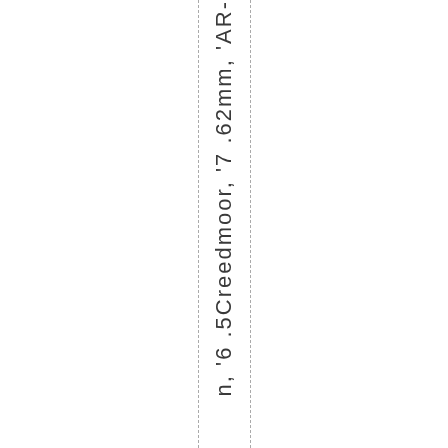n, '6 .5Creedmoor, '7 .62mm, 'AR-